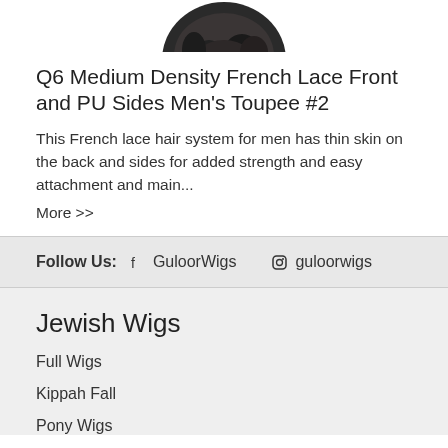[Figure (photo): Partial image of a dark hair toupee/wig product, cropped at the top of the page]
Q6 Medium Density French Lace Front and PU Sides Men's Toupee #2
This French lace hair system for men has thin skin on the back and sides for added strength and easy attachment and main...
More >>
Follow Us:  f GuloorWigs   guloorwigs
Jewish Wigs
Full Wigs
Kippah Fall
Pony Wigs